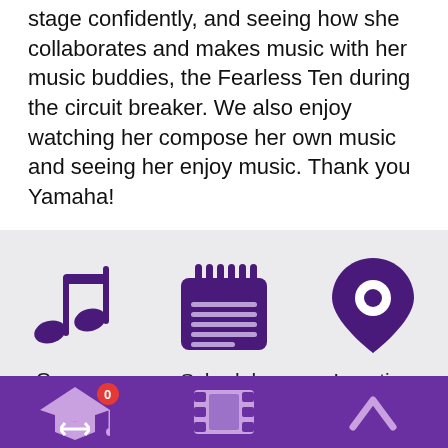stage confidently, and seeing how she collaborates and makes music with her music buddies, the Fearless Ten during the circuit breaker. We also enjoy watching her compose her own music and seeing her enjoy music. Thank you Yamaha!
[Figure (infographic): Three navigation icons on grey background: music note icon labeled Courses, calendar/schedule icon labeled Schedule, map pin icon labeled Location]
[Figure (infographic): Bottom navigation bar with purple background: graduation cap icon with badge showing 0, film reel icon, and up-arrow icon]